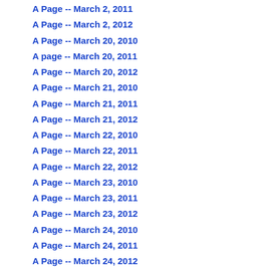A Page -- March 2, 2011
A Page -- March 2, 2012
A Page -- March 20, 2010
A page -- March 20, 2011
A Page -- March 20, 2012
A Page -- March 21, 2010
A Page -- March 21, 2011
A Page -- March 21, 2012
A Page -- March 22, 2010
A Page -- March 22, 2011
A Page -- March 22, 2012
A Page -- March 23, 2010
A Page -- March 23, 2011
A Page -- March 23, 2012
A Page -- March 24, 2010
A Page -- March 24, 2011
A Page -- March 24, 2012
A Page -- March 25, 2010
A Page -- March 25, 2011
A Page -- March 25, 2012
A Page -- March 26, 2010
A Page -- March 26, 2011